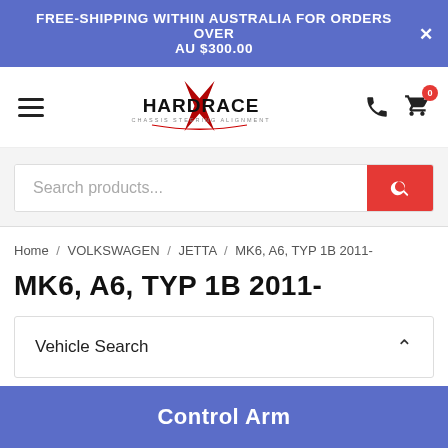FREE-SHIPPING WITHIN AUSTRALIA FOR ORDERS OVER AU $300.00
[Figure (logo): Hardrace logo - Chassis Steering Alignment]
Search products...
Home / VOLKSWAGEN / JETTA / MK6, A6, TYP 1B 2011-
MK6, A6, TYP 1B 2011-
Vehicle Search
Control Arm